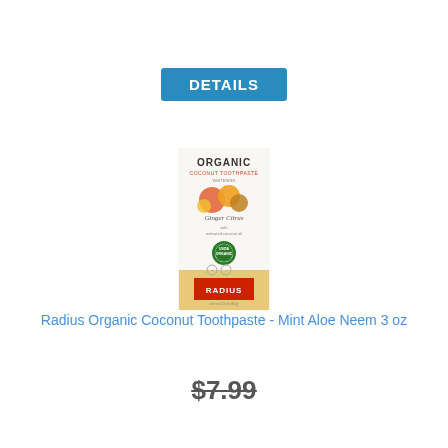DETAILS
[Figure (photo): Radius Organic Coconut Toothpaste box - white box with orange/ginger citrus fruits image, USDA Organic seal, and red RADIUS logo at bottom]
Radius Organic Coconut Toothpaste - Mint Aloe Neem 3 oz
$7.99 (strikethrough)